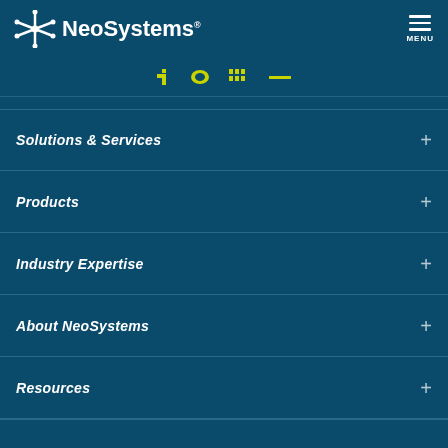NeoSystems
[Figure (other): Social media icons bar with yellow/gold colored social icons (Facebook, Twitter/X, LinkedIn, and dash/minus symbol)]
Solutions & Services
Products
Industry Expertise
About NeoSystems
Resources